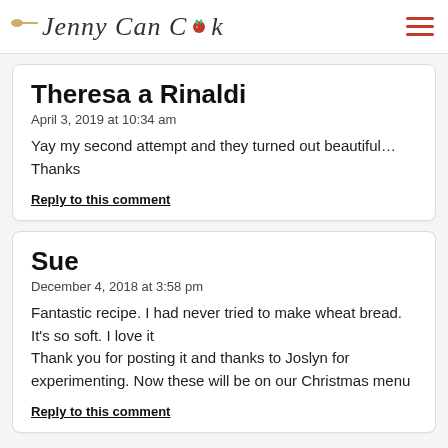Jenny Can Cook
Theresa a Rinaldi
April 3, 2019 at 10:34 am
Yay my second attempt and they turned out beautiful…Thanks
Reply to this comment
Sue
December 4, 2018 at 3:58 pm
Fantastic recipe. I had never tried to make wheat bread. It's so soft. I love it
Thank you for posting it and thanks to Joslyn for experimenting. Now these will be on our Christmas menu
Reply to this comment